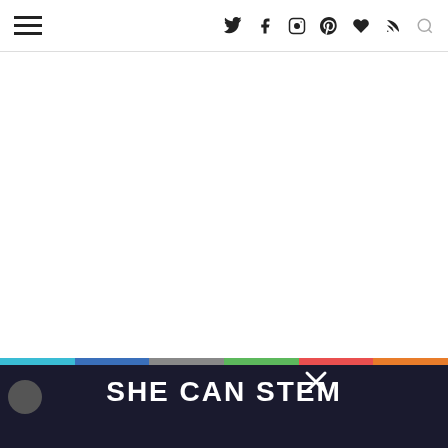Navigation header with hamburger menu and social icons: twitter, facebook, instagram, pinterest, heart, rss, search
Dessert Wars: Vanilla Dreams
Iron Chef challenge: Baking Powder sponsored by Clabber Girl
[Figure (screenshot): SHE CAN STEM banner advertisement at the bottom of the page, dark background with colorful top stripe and bold white text]